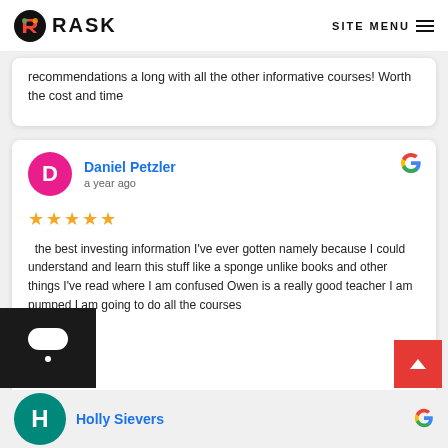RASK | SITE MENU
recommendations a long with all the other informative courses! Worth the cost and time
Daniel Petzler
a year ago
★★★★★ the best investing information I've ever gotten namely because I could understand and learn this stuff like a sponge unlike books and other things I've read where I am confused Owen is a really good teacher I am pumped I am going to do all the courses
Holly Sievers